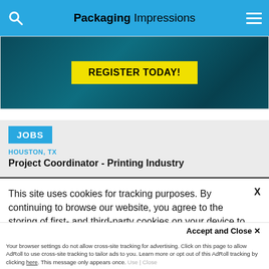Packaging Impressions
[Figure (other): Dark blue/teal background advertisement banner with yellow 'REGISTER TODAY!' button]
JOBS
HOUSTON, TX
Project Coordinator - Printing Industry
This site uses cookies for tracking purposes. By continuing to browse our website, you agree to the storing of first- and third-party cookies on your device to enhance site navigation, analyze site usage, and assist in our marketing and
Accept and Close ✕
Your browser settings do not allow cross-site tracking for advertising. Click on this page to allow AdRoll to use cross-site tracking to tailor ads to you. Learn more or opt out of this AdRoll tracking by clicking here. This message only appears once.